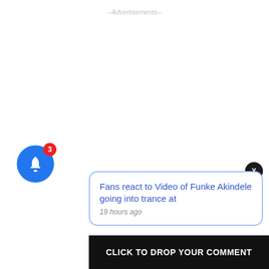--Advertisements--
[Figure (screenshot): Close button (X) in black circle for dismissing notification popup]
Fans react to Video of Funke Akindele going into trance at
19 hours ago
[Figure (infographic): Blue bell notification icon with red badge showing count 3]
CLICK TO DROP YOUR COMMENT